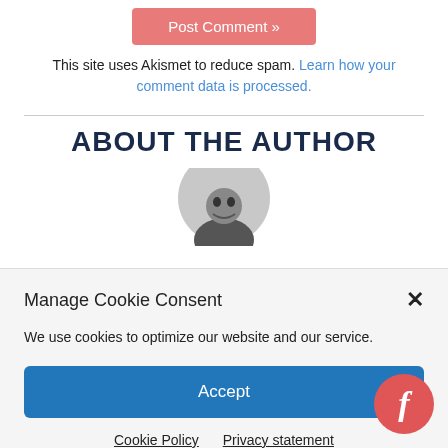[Figure (other): Pink 'Post Comment »' button]
This site uses Akismet to reduce spam. Learn how your comment data is processed.
ABOUT THE AUTHOR
[Figure (photo): Circular author profile photo, grayscale, partially visible]
Manage Cookie Consent
We use cookies to optimize our website and our service.
[Figure (other): Blue 'Accept' button for cookie consent]
Cookie Policy   Privacy statement
[Figure (logo): Feedly red circular badge with italic 'f' letter]